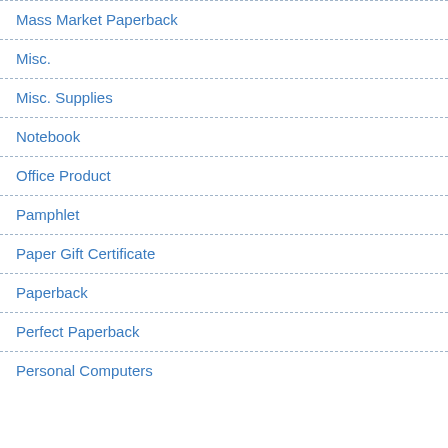Mass Market Paperback
Misc.
Misc. Supplies
Notebook
Office Product
Pamphlet
Paper Gift Certificate
Paperback
Perfect Paperback
Personal Computers